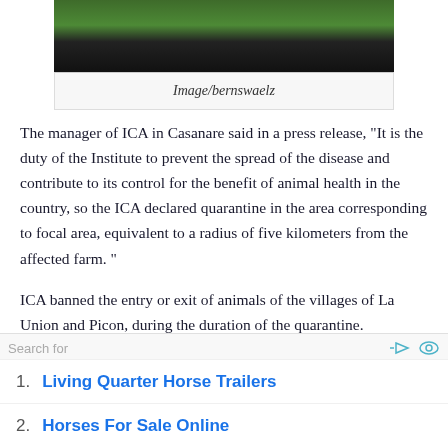[Figure (photo): Close-up photo of a dark horse's legs and lower body on green grass]
Image/bernswaelz
The manager of ICA in Casanare said in a press release, “It is the duty of the Institute to prevent the spread of the disease and contribute to its control for the benefit of animal health in the country, so the ICA declared quarantine in the area corresponding to focal area, equivalent to a radius of five kilometers from the affected farm. ”
ICA banned the entry or exit of animals of the villages of La Union and Picon, during the duration of the quarantine.
1. Living Quarter Horse Trailers
2. Horses For Sale Online